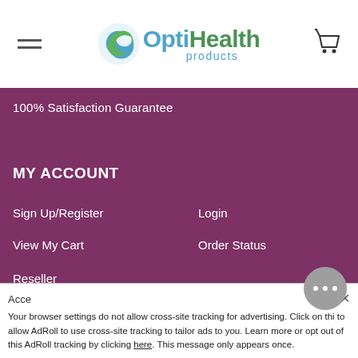[Figure (logo): OptiHealth Products logo with teal and green leaf icon, OptiHealth in teal/green bold text, products in teal below]
100% Satisfaction Guarantee
MY ACCOUNT
Sign Up/Register
Login
View My Cart
Order Status
Reseller
DISCLAIMER
Information presented at OptiHealth Store or OptiHealth Products, Inc
Your browser settings do not allow cross-site tracking for advertising. Click on this to allow AdRoll to use cross-site tracking to tailor ads to you. Learn more or opt out of this AdRoll tracking by clicking here. This message only appears once.